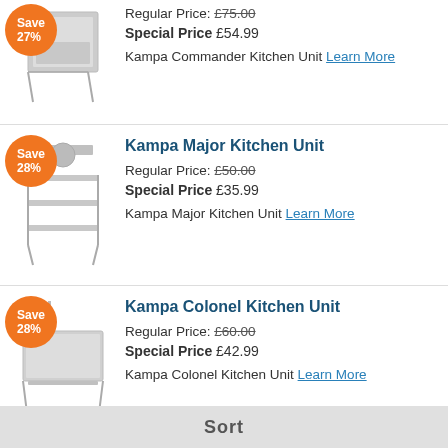[Figure (photo): Kampa Commander Kitchen Unit product image with Save 27% orange badge]
Regular Price: £75.00
Special Price £54.99
Kampa Commander Kitchen Unit Learn More
Kampa Major Kitchen Unit
[Figure (photo): Kampa Major Kitchen Unit product image with Save 28% orange badge]
Regular Price: £50.00
Special Price £35.99
Kampa Major Kitchen Unit Learn More
Kampa Colonel Kitchen Unit
[Figure (photo): Kampa Colonel Kitchen Unit product image with Save 28% orange badge]
Regular Price: £60.00
Special Price £42.99
Kampa Colonel Kitchen Unit Learn More
Kampa Washing Stand with Bowl
[Figure (photo): Kampa Washing Stand with Bowl product image with Save orange badge (partially visible)]
Sort